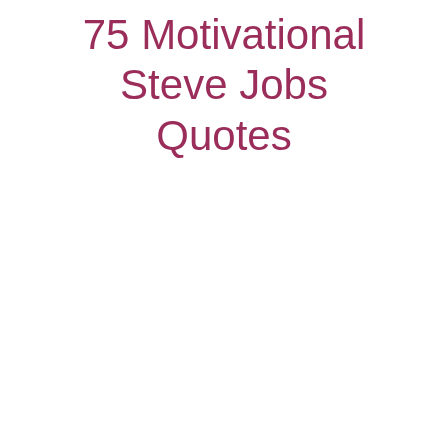75 Motivational Steve Jobs Quotes